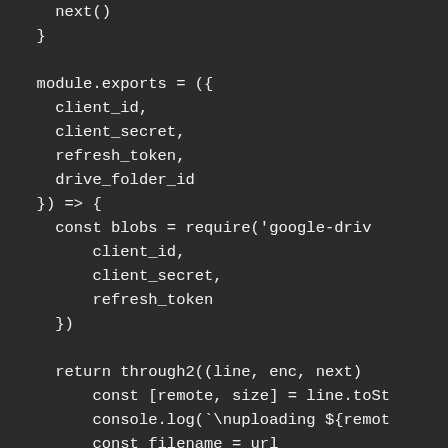next()
  }

  module.exports = ({
    client_id,
    client_secret,
    refresh_token,
    drive_folder_id
  }) => {
    const blobs = require('google-driv
        client_id,
        client_secret,
        refresh_token
    })

    return through2((line, enc, next)
        const [remote, size] = line.toSt
        console.log(`\nuploading ${remot
        const filename = url